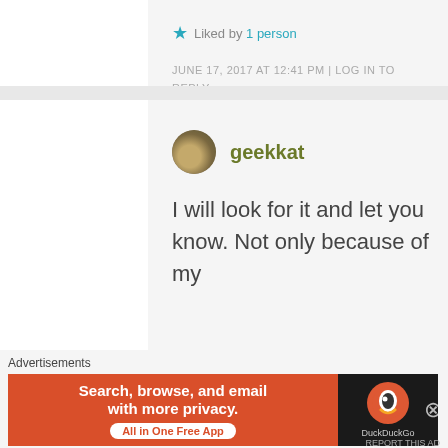★ Liked by 1 person
JUNE 17, 2017 AT 12:41 PM | LOG IN TO REPLY
geekkat
I will look for it and let you know. Not only because of my
Advertisements
[Figure (screenshot): DuckDuckGo advertisement banner: Search, browse, and email with more privacy. All in One Free App]